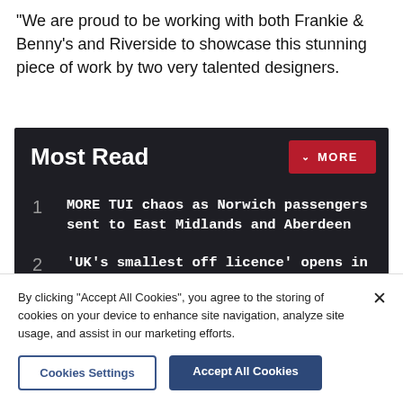"We are proud to be working with both Frankie & Benny's and Riverside to showcase this stunning piece of work by two very talented designers.
Most Read
1 MORE TUI chaos as Norwich passengers sent to East Midlands and Aberdeen
2 'UK's smallest off licence' opens in city phone box
3 Police appeal after man and woman assaulted in Norwich
By clicking "Accept All Cookies", you agree to the storing of cookies on your device to enhance site navigation, analyze site usage, and assist in our marketing efforts.
Cookies Settings | Accept All Cookies